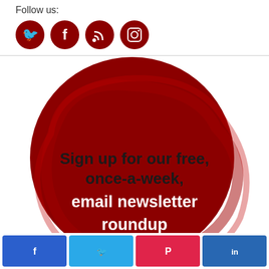Follow us:
[Figure (illustration): Four dark red circular social media icons: Twitter bird, Facebook F, RSS feed, Instagram camera]
[Figure (illustration): Large dark red brushstroke circle with text: 'Sign up for our free, once-a-week, email newsletter roundup']
[Figure (illustration): Social share bar with four buttons: Facebook (blue), Twitter (light blue), Pinterest (red), LinkedIn (dark blue)]